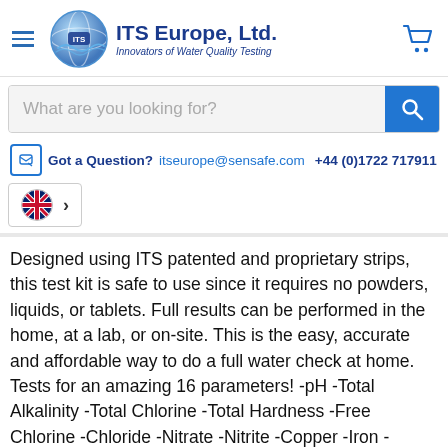ITS Europe, Ltd. — Innovators of Water Quality Testing
What are you looking for?
Got a Question? itseurope@sensafe.com +44 (0)1722 717911
Designed using ITS patented and proprietary strips, this test kit is safe to use since it requires no powders, liquids, or tablets. Full results can be performed in the home, at a lab, or on-site. This is the easy, accurate and affordable way to do a full water check at home. Tests for an amazing 16 parameters! -pH -Total Alkalinity -Total Chlorine -Total Hardness -Free Chlorine -Chloride -Nitrate -Nitrite -Copper -Iron -Bacteria: Positive/Negative -Hydrogen Sulfide -Lead: